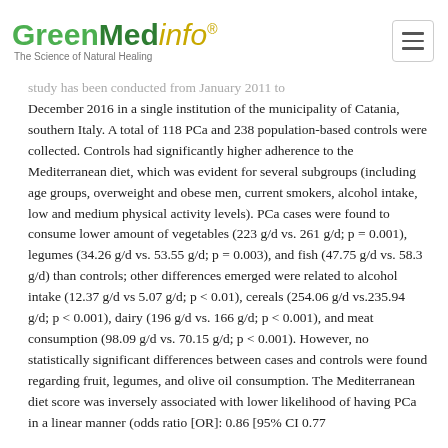GreenMedinfo — The Science of Natural Healing
study has been conducted from January 2011 to December 2016 in a single institution of the municipality of Catania, southern Italy. A total of 118 PCa and 238 population-based controls were collected. Controls had significantly higher adherence to the Mediterranean diet, which was evident for several subgroups (including age groups, overweight and obese men, current smokers, alcohol intake, low and medium physical activity levels). PCa cases were found to consume lower amount of vegetables (223 g/d vs. 261 g/d; p = 0.001), legumes (34.26 g/d vs. 53.55 g/d; p = 0.003), and fish (47.75 g/d vs. 58.3 g/d) than controls; other differences emerged were related to alcohol intake (12.37 g/d vs 5.07 g/d; p < 0.01), cereals (254.06 g/d vs.235.94 g/d; p < 0.001), dairy (196 g/d vs. 166 g/d; p < 0.001), and meat consumption (98.09 g/d vs. 70.15 g/d; p < 0.001). However, no statistically significant differences between cases and controls were found regarding fruit, legumes, and olive oil consumption. The Mediterranean diet score was inversely associated with lower likelihood of having PCa in a linear manner (odds ratio [OR]: 0.86 [95% CI 0.77